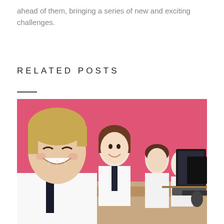ahead of them, bringing a series of new and exciting challenges.
RELATED POSTS
[Figure (photo): Students in school uniforms (white shirts) sitting in a row at computers, smiling, against a pink background wall. A boy in the foreground with short blonde hair is laughing. Several girls are visible behind him. Computer monitors and keyboards visible on the right side.]